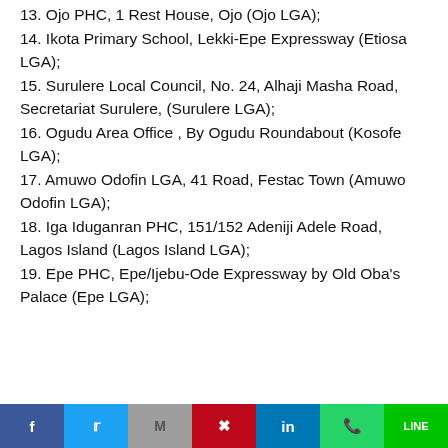13. Ojo PHC, 1 Rest House, Ojo (Ojo LGA);
14. Ikota Primary School, Lekki-Epe Expressway (Etiosa LGA);
15. Surulere Local Council, No. 24, Alhaji Masha Road, Secretariat Surulere, (Surulere LGA);
16. Ogudu Area Office , By Ogudu Roundabout (Kosofe LGA);
17. Amuwo Odofin LGA, 41 Road, Festac Town (Amuwo Odofin LGA);
18. Iga Iduganran PHC, 151/152 Adeniji Adele Road, Lagos Island (Lagos Island LGA);
19. Epe PHC, Epe/Ijebu-Ode Expressway by Old Oba's Palace (Epe LGA);